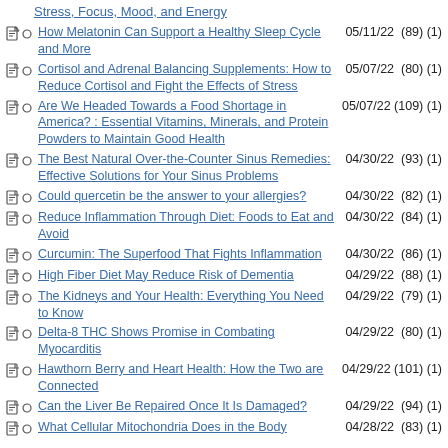Stress, Focus, Mood, and Energy
How Melatonin Can Support a Healthy Sleep Cycle and More
Cortisol and Adrenal Balancing Supplements: How to Reduce Cortisol and Fight the Effects of Stress
Are We Headed Towards a Food Shortage in America? : Essential Vitamins, Minerals, and Protein Powders to Maintain Good Health
The Best Natural Over-the-Counter Sinus Remedies: Effective Solutions for Your Sinus Problems
Could quercetin be the answer to your allergies?
Reduce Inflammation Through Diet: Foods to Eat and Avoid
Curcumin: The Superfood That Fights Inflammation
High Fiber Diet May Reduce Risk of Dementia
The Kidneys and Your Health: Everything You Need to Know
Delta-8 THC Shows Promise in Combating Myocarditis
Hawthorn Berry and Heart Health: How the Two are Connected
Can the Liver Be Repaired Once It Is Damaged?
What Cellular Mitochondria Does in the Body